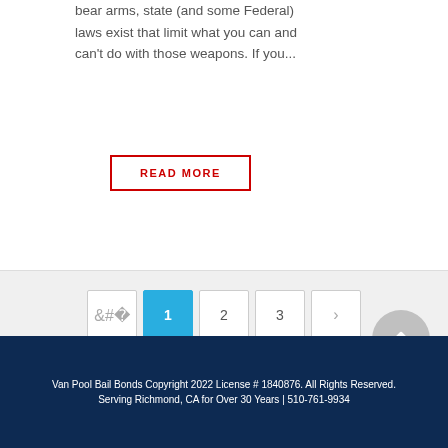bear arms, state (and some Federal) laws exist that limit what you can and can't do with those weapons. If you...
READ MORE
< 1 2 3 >
Van Pool Bail Bonds Copyright 2022 License # 1840876. All Rights Reserved.
Serving Richmond, CA for Over 30 Years | 510-761-9934